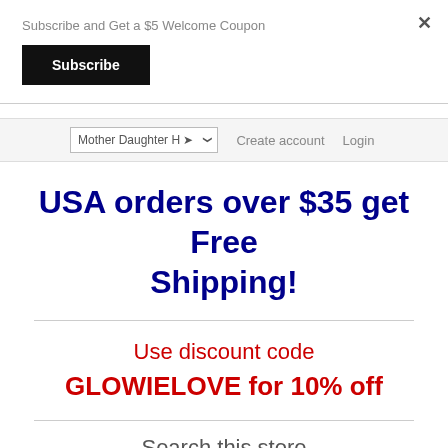Subscribe and Get a $5 Welcome Coupon
Subscribe
Mother Daughter H ❯   Create account   Login
USA orders over $35 get Free Shipping!
Use discount code
GLOWIELOVE for 10% off
Search this store